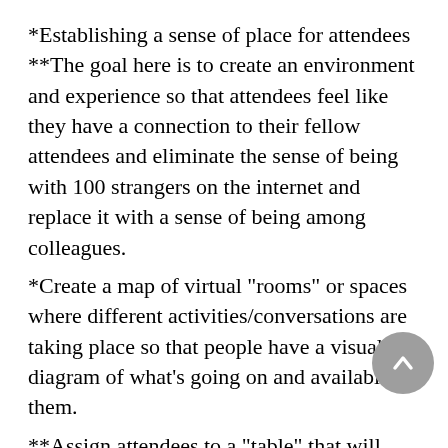*Establishing a sense of place for attendees
**The goal here is to create an environment and experience so that attendees feel like they have a connection to their fellow attendees and eliminate the sense of being with 100 strangers on the internet and replace it with a sense of being among colleagues.
*Create a map of virtual "rooms" or spaces where different activities/conversations are taking place so that people have a visual diagram of what's going on and available to them.
**Assign attendees to a "table" that will then determine their breakout room
**Send an optional swag-bag to attendees with a handful of items that may be useful